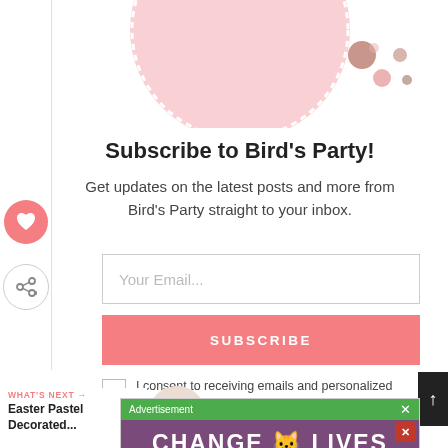[Figure (illustration): Pink decorative circular illustration with dotted border and small brown/pink dot accents at top of subscription card]
Subscribe to Bird's Party!
Get updates on the latest posts and more from Bird's Party straight to your inbox.
Your Email...
SUBSCRIBE
I consent to receiving emails and personalized ads.
WHAT'S NEXT → Easter Pastel Decorated...
[Figure (photo): Thumbnail circular photo of Easter pastel decorated item]
Advertisement
[Figure (other): Advertisement banner with cats and text CHANGE LIVES on purple background]